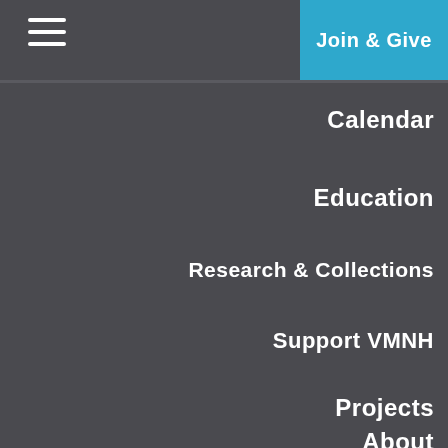☰ Join & Give
Calendar
Education
Research & Collections
Support VMNH
Projects
About